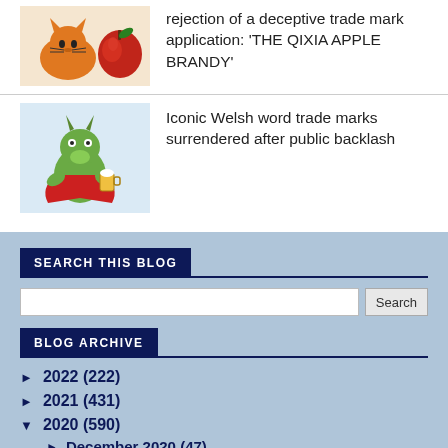rejection of a deceptive trade mark application: 'THE QIXIA APPLE BRANDY'
[Figure (illustration): Cat and red apple illustration]
Iconic Welsh word trade marks surrendered after public backlash
[Figure (illustration): Dragon superhero character illustration]
SEARCH THIS BLOG
Search
BLOG ARCHIVE
► 2022 (222)
► 2021 (431)
▼ 2020 (590)
► December 2020 (47)
► November 2020 (37)
► October 2020 (...)